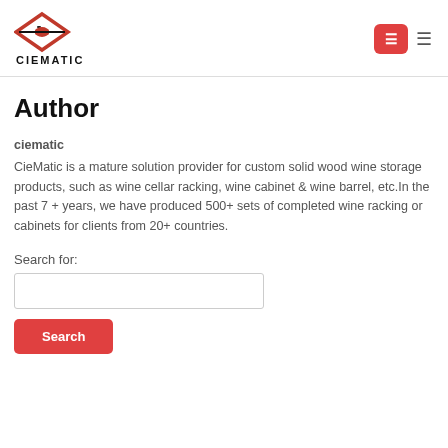[Figure (logo): Ciematic red diamond-shaped logo with a wine bottle silhouette and the text CIEMATIC below]
Author
ciematic
CieMatic is a mature solution provider for custom solid wood wine storage products, such as wine cellar racking, wine cabinet & wine barrel, etc.In the past 7 + years, we have produced 500+ sets of completed wine racking or cabinets for clients from 20+ countries.
Search for: